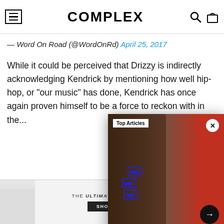COMPLEX
— Word On Road (@WordOnRd) April 25, 2017
While it could be perceived that Drizzy is indirectly acknowledging Kendrick by mentioning how well hip-hop, or "our music" has done, Kendrick has once again proven himself to be a force to reckon with in the...
[Figure (screenshot): Top Articles popup overlay showing Full Size Run logo and Joey Badass video thumbnail with navigation arrow]
Joey Badass Resold Sneakers to Launch His Rap Career | Full Size Run
[Figure (photo): Advertisement banner: THE ULTIMATE ALO LINEUP with SHOP NOW button and people in athletic wear]